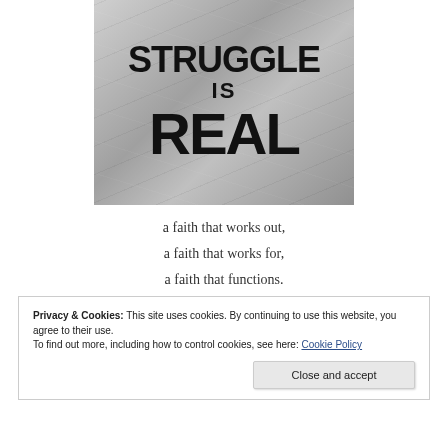[Figure (photo): A crumpled paper or fabric with bold black text reading 'STRUGGLE IS REAL' — the top shows 'STRUGGLE' partially cropped, then 'IS' in smaller text, then 'REAL' in large bold letters.]
a faith that works out,
a faith that works for,
a faith that functions.
Privacy & Cookies: This site uses cookies. By continuing to use this website, you agree to their use.
To find out more, including how to control cookies, see here: Cookie Policy